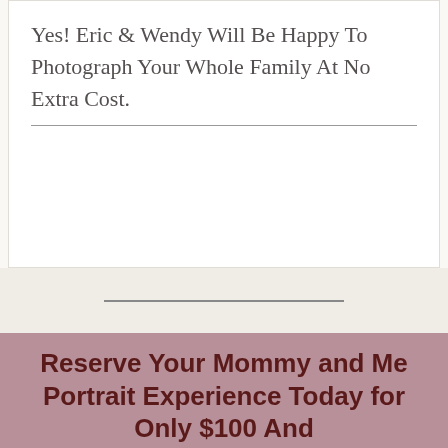Yes! Eric & Wendy Will Be Happy To Photograph Your Whole Family At No Extra Cost.
Reserve Your Mommy and Me Portrait Experience Today for Only $100 And
Receive a $500
STUDIO GIFT